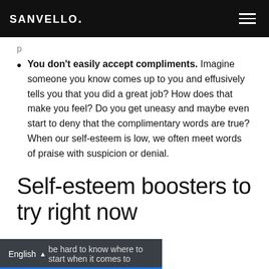SANVELLO.
You don't easily accept compliments. Imagine someone you know comes up to you and effusively tells you that you did a great job? How does that make you feel? Do you get uneasy and maybe even start to deny that the complimentary words are true? When our self-esteem is low, we often meet words of praise with suspicion or denial.
Self-esteem boosters to try right now
English  be hard to know where to start when it comes to